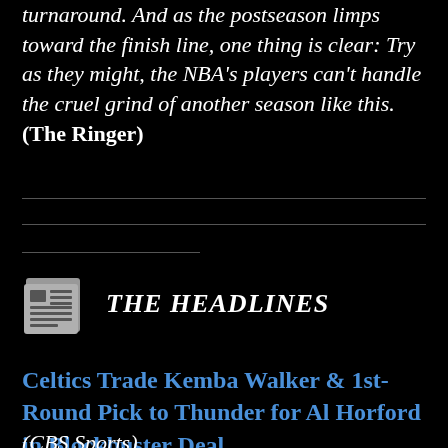turnaround. And as the postseason limps toward the finish line, one thing is clear: Try as they might, the NBA's players can't handle the cruel grind of another season like this. (The Ringer)
THE HEADLINES
Celtics Trade Kemba Walker & 1st-Round Pick to Thunder for Al Horford in Blockbuster Deal
(CBS Sports)